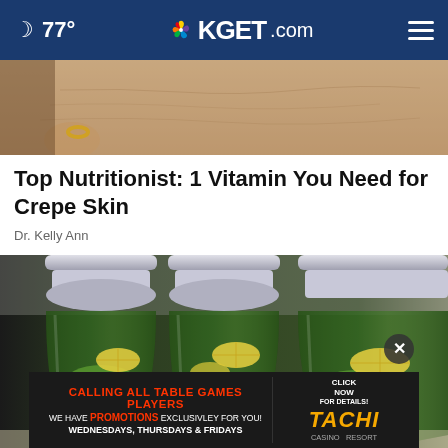77° KGET.com
[Figure (photo): Close-up of elderly person's arm skin showing crepe-like texture, with a ring on the finger]
Top Nutritionist: 1 Vitamin You Need for Crepe Skin
Dr. Kelly Ann
[Figure (photo): Three green glass bottles filled with water, cucumber slices, and lemon slices]
[Figure (infographic): Advertisement: CALLING ALL TABLE GAMES PLAYERS - WE HAVE PROMOTIONS EXCLUSIVLEY FOR YOU! WEDNESDAYS, THURSDAYS & FRIDAYS - CLICK NOW FOR DETAILS! TACHI CASINO RESORT]